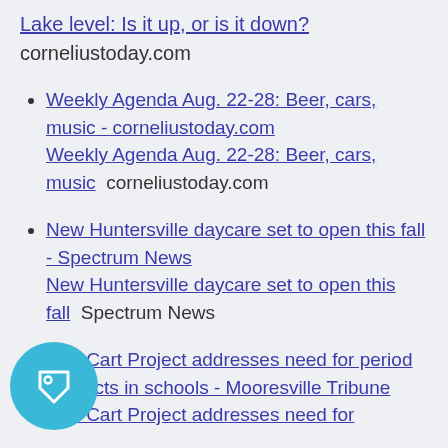Lake level: Is it up, or is it down?  corneliustoday.com
Weekly Agenda Aug. 22-28: Beer, cars, music - corneliustoday.com Weekly Agenda Aug. 22-28: Beer, cars, music  corneliustoday.com
New Huntersville daycare set to open this fall - Spectrum News New Huntersville daycare set to open this fall  Spectrum News
Red Cart Project addresses need for period products in schools - Mooresville Tribune Red Cart Project addresses need for
[Figure (illustration): Circular teal/cyan badge with a white tag/label icon in the center]